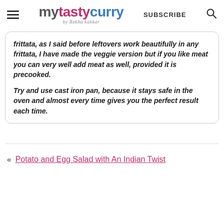mytastycurry by Rekha kakkar — SUBSCRIBE
frittata, as I said before leftovers work beautifully in any frittata, I have made the veggie version but if you like meat you can very well add meat as well, provided it is precooked.

Try and use cast iron pan, because it stays safe in the oven and almost every time gives you the perfect result each time.
« Potato and Egg Salad with An Indian Twist